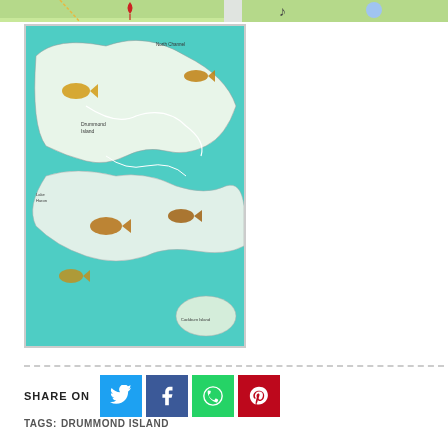[Figure (map): Cropped top strip of two map images showing green terrain, partial road/symbol overlays]
[Figure (map): Vintage-style illustrated map of Drummond Island, Michigan, showing teal/turquoise water areas, fish illustrations, roads, and island labels]
SHARE ON
TAGS: DRUMMOND ISLAND
Related Posts of "Drummond island Michigan Map"
[Figure (map): Bottom partial map image, green terrain, partially visible]